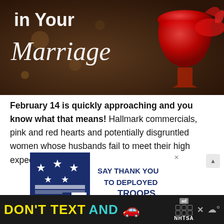[Figure (photo): Dark brown background with white italic text reading 'in Your Marriage' and a red wine glass on the right side]
February 14 is quickly approaching and you know what that means! Hallmark commercials, pink and red hearts and potentially disgruntled women whose husbands fail to meet their high expectations for a romantic evening.
[Figure (photo): Advertisement: 'SAY THANK YOU TO DEPLOYED TROOPS' with patriotic stars and stripes imagery]
[Figure (photo): Bottom ad banner: 'DON'T TEXT AND' with a car emoji, NHTSA branding on dark background]